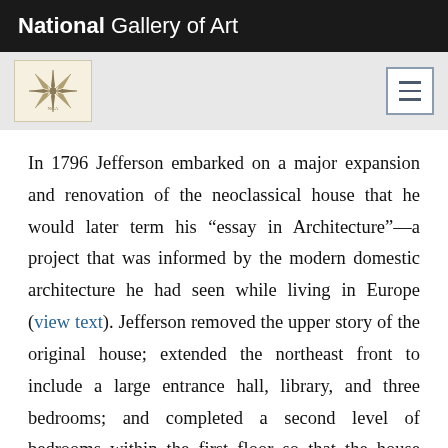National Gallery of Art
[Figure (logo): National Gallery of Art logo — compass rose / star design on cream background, with hamburger menu button on the right]
In 1796 Jefferson embarked on a major expansion and renovation of the neoclassical house that he would later term his “essay in Architecture”—a project that was informed by the modern domestic architecture he had seen while living in Europe (view text). Jefferson removed the upper story of the original house; extended the northeast front to include a large entrance hall, library, and three bedrooms; and completed a second level of bedrooms within the first floor so that the house appears to be only a single story from the outside. He also added a dome—a first in American domestic architecture—to the house in 1800, inspired by the